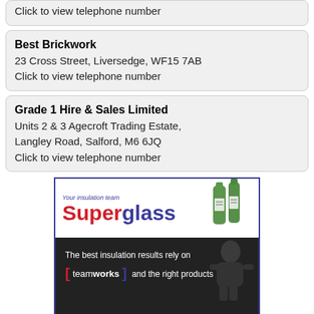Click to view telephone number
Best Brickwork
23 Cross Street, Liversedge, WF15 7AB
Click to view telephone number
Grade 1 Hire & Sales Limited
Units 2 & 3 Agecroft Trading Estate, Langley Road, Salford, M6 6JQ
Click to view telephone number
[Figure (illustration): Superglass insulation advertisement. Top white section shows 'Your insulation team' tagline, 'Superglass' logo in red and blue, with green bottles in background. Dark section shows a worker and text 'The best insulation results rely on [teamworks] and the right products'. Bottom strip with bracket icons.]